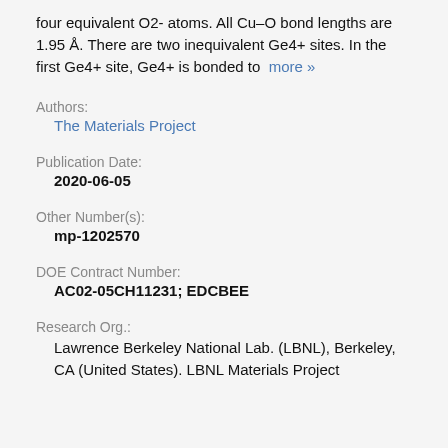four equivalent O2- atoms. All Cu–O bond lengths are 1.95 Å. There are two inequivalent Ge4+ sites. In the first Ge4+ site, Ge4+ is bonded to  more »
Authors:
The Materials Project
Publication Date:
2020-06-05
Other Number(s):
mp-1202570
DOE Contract Number:
AC02-05CH11231; EDCBEE
Research Org.:
Lawrence Berkeley National Lab. (LBNL), Berkeley, CA (United States). LBNL Materials Project